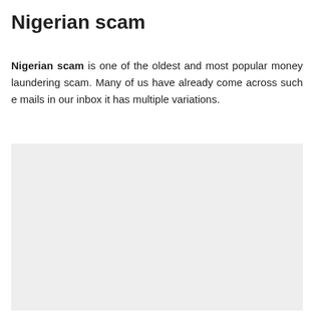Nigerian scam
Nigerian scam is one of the oldest and most popular money laundering scam. Many of us have already come across such e mails in our inbox it has multiple variations.
[Figure (other): Light grey rectangular placeholder image area]